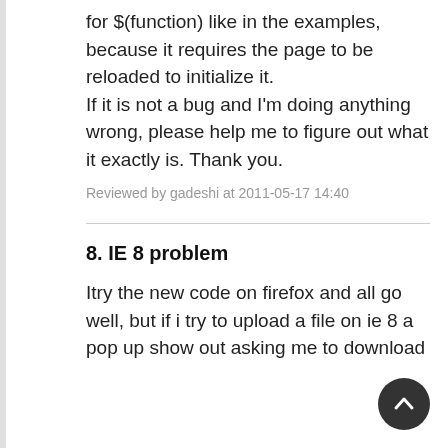for $(function) like in the examples, because it requires the page to be reloaded to initialize it. If it is not a bug and I'm doing anything wrong, please help me to figure out what it exactly is. Thank you.
Reviewed by gadeshi at 2011-05-17 14:40
8. IE 8 problem
Itry the new code on firefox and all go well, but if i try to upload a file on ie 8 a pop up show out asking me to download